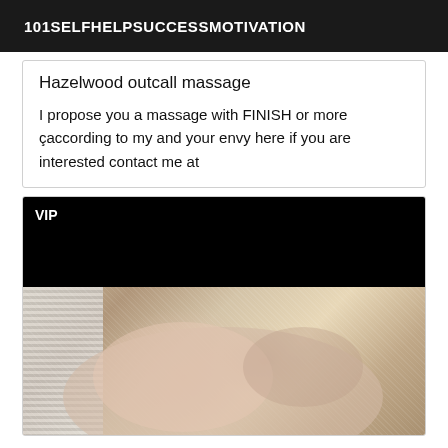101SELFHELPSUCCESSMOTIVATION
Hazelwood outcall massage
I propose you a massage with FINISH or more çaccording to my and your envy here if you are interested contact me at
[Figure (photo): VIP label on dark background with a photo below showing legs in fishnet stockings on a textured surface]